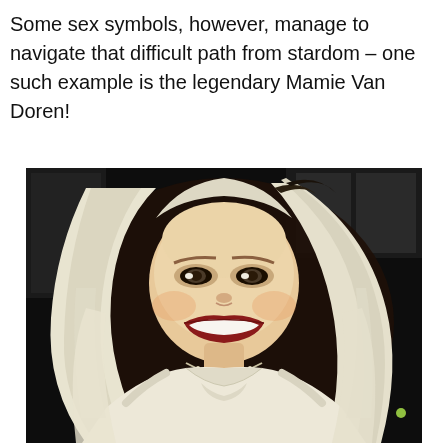Some sex symbols, however, manage to navigate that difficult path from stardom – one such example is the legendary Mamie Van Doren!
[Figure (photo): A woman with long platinum blonde hair wearing a white satin dress and sparkly necklace, smiling broadly with red lipstick, photographed against a dark background]